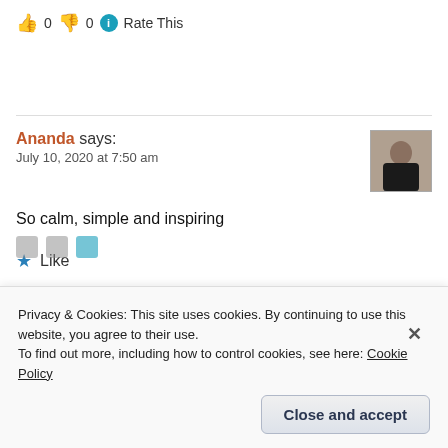👍 0 👎 0 ℹ Rate This
Ananda says:
July 10, 2020 at 7:50 am
So calm, simple and inspiring
★ Like
Privacy & Cookies: This site uses cookies. By continuing to use this website, you agree to their use.
To find out more, including how to control cookies, see here: Cookie Policy
Close and accept